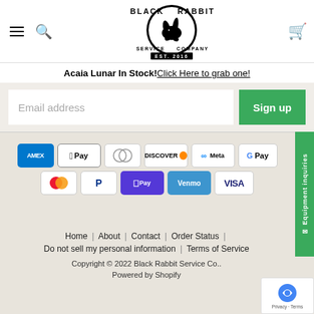[Figure (logo): Black Rabbit Service Company logo with rabbit silhouette inside a circle, EST. 2016, black and white]
Acaia Lunar In Stock! Click Here to grab one!
Email address
Sign up
[Figure (infographic): Payment method icons: AMEX, Apple Pay, Diners, Discover, Meta Pay, Google Pay, Mastercard, PayPal, ShopPay, Venmo, Visa]
Home | About | Contact | Order Status | Do not sell my personal information | Terms of Service
Copyright © 2022 Black Rabbit Service Co.. Powered by Shopify